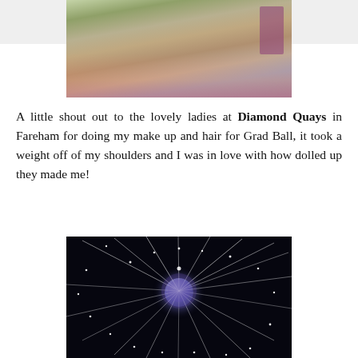≡ MENU
[Figure (photo): Person from behind wearing a grey floral dress in a flower shop setting]
A little shout out to the lovely ladies at Diamond Quays in Fareham for doing my make up and hair for Grad Ball, it took a weight off of my shoulders and I was in love with how dolled up they made me!
[Figure (photo): Disco ball with fairy lights streaking outward against a dark background]